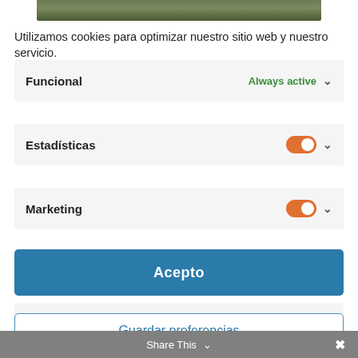[Figure (photo): Partial view of a nature/forest photo at the top of the page]
Utilizamos cookies para optimizar nuestro sitio web y nuestro servicio.
Funcional — Always active
Estadísticas — toggle on
Marketing — toggle on
Acepto
Denegado
Guardar preferencias
Share This ✓ ×